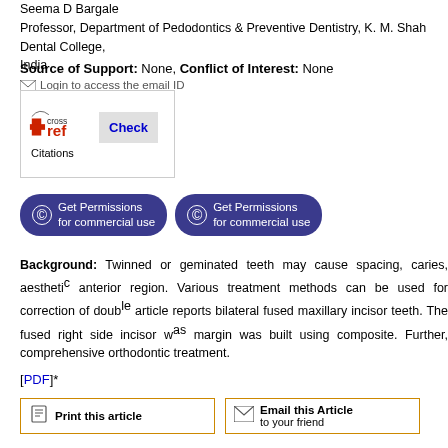Seema D Bargale
Professor, Department of Pedodontics & Preventive Dentistry, K. M. Shah Dental College, India
Login to access the email ID
Source of Support: None, Conflict of Interest: None
[Figure (other): CrossRef Check Citations widget box with logo and Check button]
[Figure (other): Two blue rounded buttons: Get Permissions for commercial use (x2)]
Background: Twinned or geminated teeth may cause spacing, caries, aesthetic problems in anterior region. Various treatment methods can be used for correction of double teeth. This article reports bilateral fused maxillary incisor teeth. The fused right side incisor was separated and margin was built using composite. Further, comprehensive orthodontic treatment
[PDF]*
Print this article | Email this Article to your friend